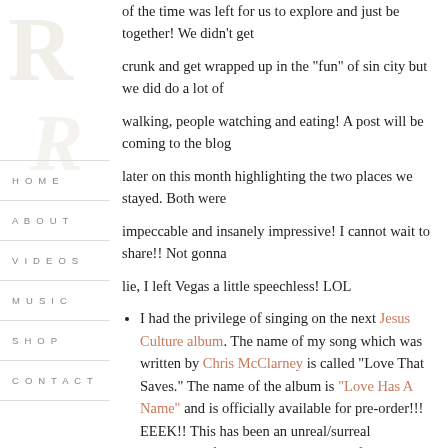[Figure (logo): Watermark letters R in serif style, partially visible, tan/gold color]
HOME
ABOUT
VIDEOS
MUSIC
SHOP
CONTACT
of the time was left for us to explore and just be together! We didn’t get crunk and get wrapped up in the “fun” of sin city but we did do a lot of walking, people watching and eating! A post will be coming to the blog later on this month highlighting the two places we stayed. Both were impeccable and insanely impressive! I cannot wait to share!! Not gonna lie, I left Vegas a little speechless! LOL
I had the privilege of singing on the next Jesus Culture album. The name of my song which was written by Chris McClarney is called “Love That Saves.” The name of the album is “Love Has A Name” and is officially available for pre-order!!! EEEK!! This has been an unreal/surreal opportunity for me and I cannot wait for you to hear all of these songs!! The album officially comes out August 11th but is available for pre-order here.
The biggest opportunity to have come to Ruthie Ridley Blog came my